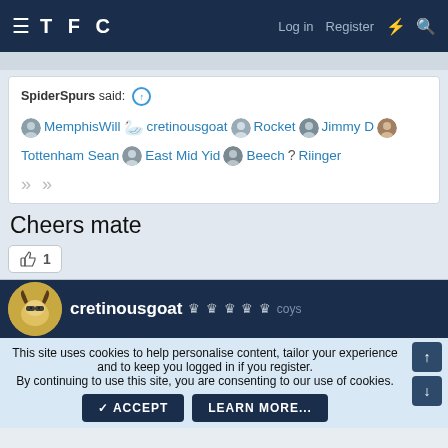TFC  Log in  Register
SpiderSpurs said: ↑
MemphisWill  cretinousgoat  Rocket  Jimmy D  Tottenham Sean  East Mid Yid  Beech  ?  Riinger
Cheers mate
👍 1
cretinousgoat 🏆🏆🏆🏆🏆 coys
This site uses cookies to help personalise content, tailor your experience and to keep you logged in if you register.
By continuing to use this site, you are consenting to our use of cookies.
✓ ACCEPT   LEARN MORE...